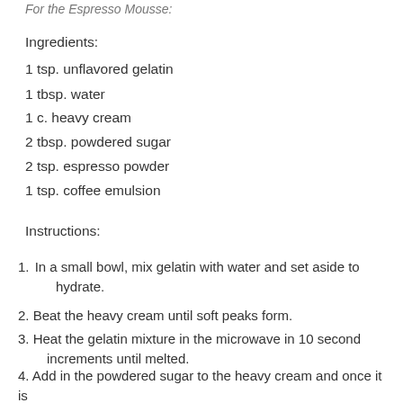For the Espresso Mousse:
Ingredients:
1 tsp. unflavored gelatin
1 tbsp. water
1 c. heavy cream
2 tbsp. powdered sugar
2 tsp. espresso powder
1 tsp. coffee emulsion
Instructions:
1. In a small bowl, mix gelatin with water and set aside to hydrate.
2. Beat the heavy cream until soft peaks form.
3. Heat the gelatin mixture in the microwave in 10 second increments until melted.
4. Add in the powdered sugar to the heavy cream and once it is mixed in, add in the gelatin slowly.
5. Whip until stiff peaks form. Add in the espresso powder and...